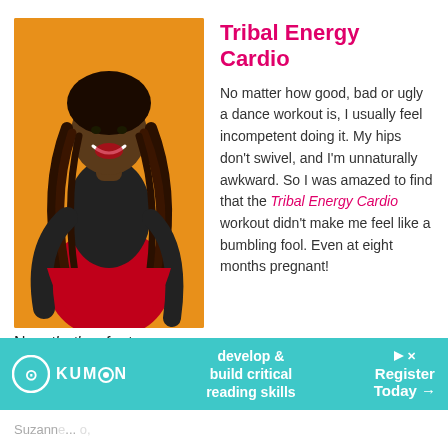[Figure (photo): A smiling woman with long dreadlocks, wearing a black top and red skirt, posed against an orange background.]
Tribal Energy Cardio
No matter how good, bad or ugly a dance workout is, I usually feel incompetent doing it. My hips don't swivel, and I'm unnaturally awkward. So I was amazed to find that the Tribal Energy Cardio workout didn't make me feel like a bumbling fool. Even at eight months pregnant!
Now that's a feat.
[Figure (other): Kumon advertisement banner: develop & build critical reading skills. Register Today arrow.]
Suzann... o,